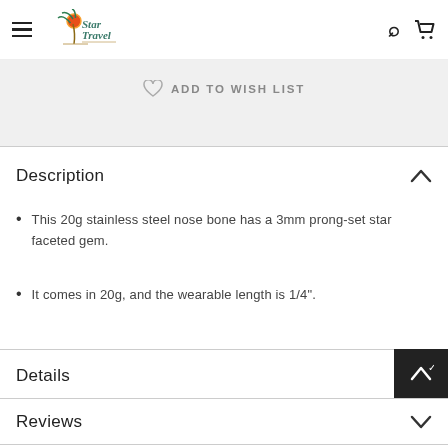Star Travel — navigation header with logo, search and cart icons
ADD TO WISH LIST
Description
This 20g stainless steel nose bone has a 3mm prong-set star faceted gem.
It comes in 20g, and the wearable length is 1/4".
Details
Reviews